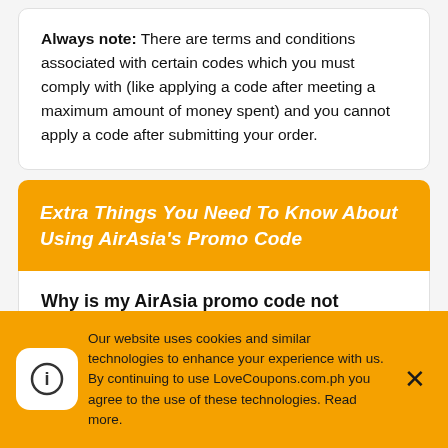Always note: There are terms and conditions associated with certain codes which you must comply with (like applying a code after meeting a maximum amount of money spent) and you cannot apply a code after submitting your order.
Extra Things You Need To Know About Using AirAsia's Promo Code
Why is my AirAsia promo code not working?
Our website uses cookies and similar technologies to enhance your experience with us. By continuing to use LoveCoupons.com.ph you agree to the use of these technologies. Read more.